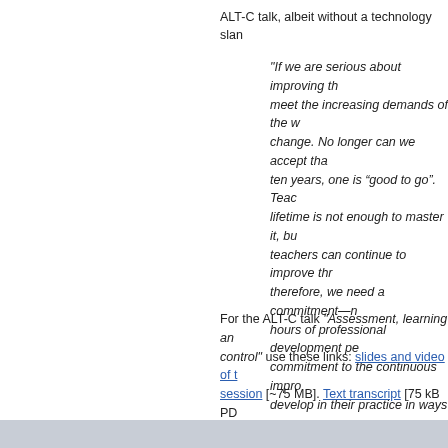ALT-C talk, albeit without a technology slan
"If we are serious about improving th meet the increasing demands of the w change. No longer can we accept tha ten years, one is “good to go”. Teach lifetime is not enough to master it, bu teachers can continue to improve thr therefore, we need a commitment—n hours of professional development pe commitment to the continuous impro develop in their practice in ways tha their students."
For the ALT-C talk “Assessment, learning an control” use these links: slides and video of the session [∼75 MB]. Text transcript [75 kB PD MB].
Post
[Figure (other): Facebook Like button showing Like 0]